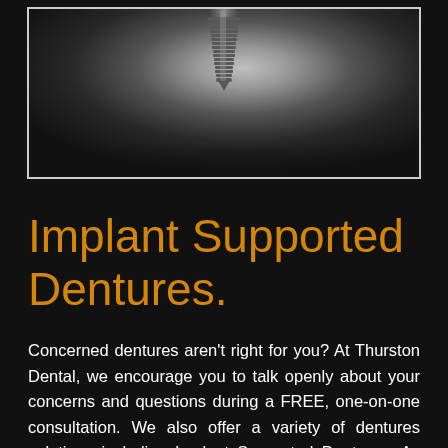[Figure (photo): A dental implant screw shown against a dark background with gradient lighting, displayed inside a bordered rectangular frame.]
Implant Supported Dentures.
Concerned dentures aren't right for you? At Thurston Dental, we encourage you to talk openly about your concerns and questions during a FREE, one-on-one consultation. We also offer a variety of dentures solutions including Implant Supported Dentures. As the name suggests, it is a denture that is secured by dental implants for stability instead of just resting on the gum. Implant Supported Dentures are more comfortable